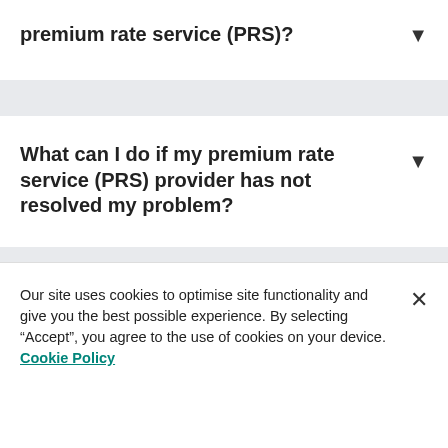premium rate service (PRS)?
What can I do if my premium rate service (PRS) provider has not resolved my problem?
For Consumers
For Business
Our site uses cookies to optimise site functionality and give you the best possible experience. By selecting “Accept”, you agree to the use of cookies on your device. Cookie Policy